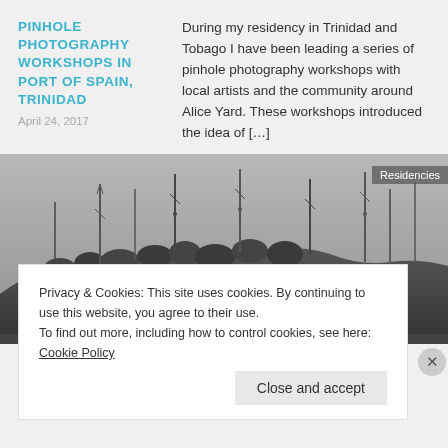PINHOLE PHOTOGRAPHY WORKSHOPS IN PORT OF SPAIN, TRINIDAD
During my residency in Trinidad and Tobago I have been leading a series of pinhole photography workshops with local artists and the community around Alice Yard. These workshops introduced the idea of […]
April 24, 2017
[Figure (photo): Grayscale photograph of communication towers and antenna masts on a hilltop with trees, against a hazy sky. A 'Residencies' label tag appears in the upper right corner.]
EASTER KITE FLYING
Still here. Carried by the breeze that makes this
Privacy & Cookies: This site uses cookies. By continuing to use this website, you agree to their use.
To find out more, including how to control cookies, see here: Cookie Policy
Close and accept